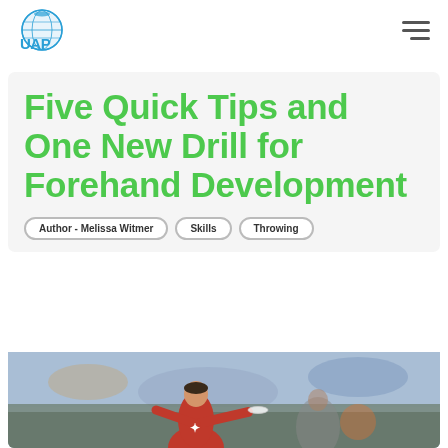UAP logo and navigation menu
Five Quick Tips and One New Drill for Forehand Development
Author - Melissa Witmer  Skills  Throwing
[Figure (photo): Action photo of an ultimate frisbee player in a red jersey mid-throw or catching, outdoors with blurred background crowd and field]